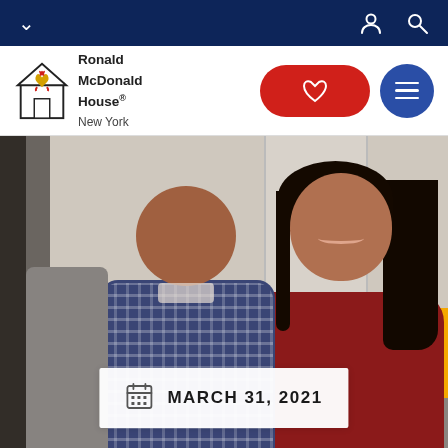Ronald McDonald House New York — navigation bar
[Figure (logo): Ronald McDonald House New York logo with house icon and red/gold mascot figure]
[Figure (photo): A smiling young boy with a shaved head wearing a plaid shirt sits with a smiling woman in a red top with long dark hair. They are sitting on a couch in a home setting.]
MARCH 31, 2021